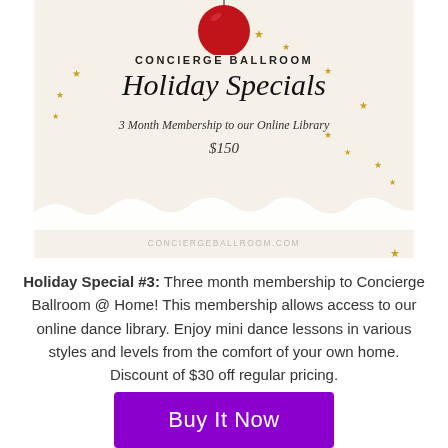[Figure (illustration): Holiday promotional image for Concierge Ballroom featuring a red ornament at top, gold stars scattered on a cream/beige background, displaying 'CONCIERGE BALLROOM Holiday Specials 3 Month Membership to our Online Library $150' with website CONCIERGEBALLROOM.COM at the bottom]
Holiday Special #3: Three month membership to Concierge Ballroom @ Home! This membership allows access to our online dance library. Enjoy mini dance lessons in various styles and levels from the comfort of your own home. Discount of $30 off regular pricing.
[Figure (other): Buy It Now button in purple]